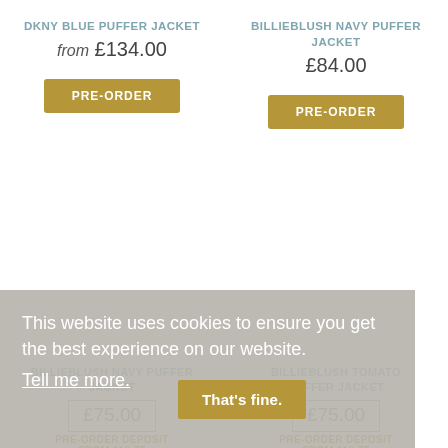DKNY BLUE PUFFER JACKET
from £134.00
PRE-ORDER
BILLIEBLUSH NAVY PUFFER JACKET
£84.00
PRE-ORDER
This website uses cookies to ensure you get the best experience on our website.
Tell me more.
That's fine.
BILLIEBLUSH NAVY PUFFER JACKET
£75.00
PRE-ORDER DEPOSIT FROM £18.75
BILLIEBLUSH TOMATO PUFFER JACKET
£75.00
PRE-ORDER DEPOSIT FROM £18.75